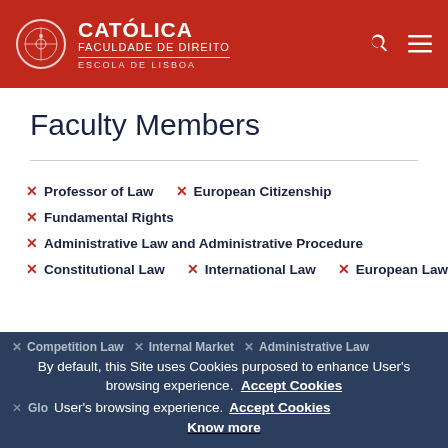CATOLICA FACULDADE DE DIREITO ESCOLA DE LISBOA
Faculty Members
Professor of Law
European Citizenship
Fundamental Rights
Administrative Law and Administrative Procedure
Constitutional Law
International Law
European Law
Competition Law
Internal Market
Administrative Law
Glo...
By default, this Site uses Cookies purposed to enhance User's browsing experience. Accept Cookies Know more